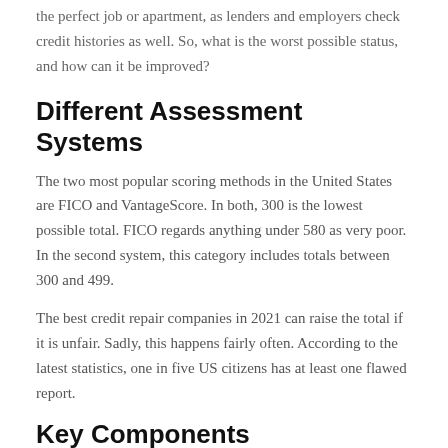the perfect job or apartment, as lenders and employers check credit histories as well. So, what is the worst possible status, and how can it be improved?
Different Assessment Systems
The two most popular scoring methods in the United States are FICO and VantageScore. In both, 300 is the lowest possible total. FICO regards anything under 580 as very poor. In the second system, this category includes totals between 300 and 499.
The best credit repair companies in 2021 can raise the total if it is unfair. Sadly, this happens fairly often. According to the latest statistics, one in five US citizens has at least one flawed report.
Key Components